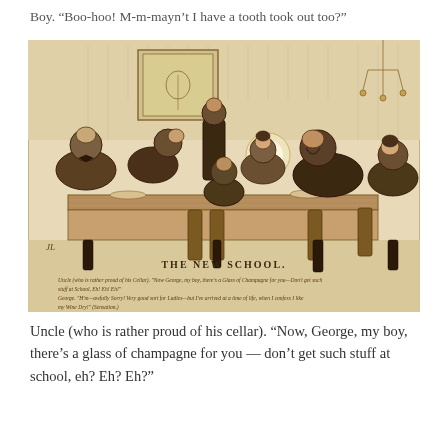Boy. "Boo-hoo! M-m-mayn't I have a tooth took out too?"
[Figure (illustration): A Victorian-era pen-and-ink illustration titled 'THE NEW SCHOOL.' showing a dinner party scene with several adults and a boy seated around a table. A waiter stands behind. The caption within the image reads a dialogue between Uncle and George about champagne and school. Sepia/brown toned.]
Uncle (who is rather proud of his cellar). "Now, George, my boy, there's a glass of champagne for you — don't get such stuff at school, eh? Eh? Eh?"